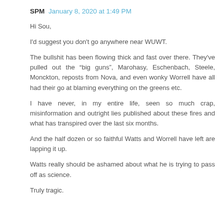SPM  January 8, 2020 at 1:49 PM
Hi Sou,
I'd suggest you don't go anywhere near WUWT.
The bullshit has been flowing thick and fast over there. They've pulled out the “big guns”, Marohasy, Eschenbach, Steele, Monckton, reposts from Nova, and even wonky Worrell have all had their go at blaming everything on the greens etc.
I have never, in my entire life, seen so much crap, misinformation and outright lies published about these fires and what has transpired over the last six months.
And the half dozen or so faithful Watts and Worrell have left are lapping it up.
Watts really should be ashamed about what he is trying to pass off as science.
Truly tragic.